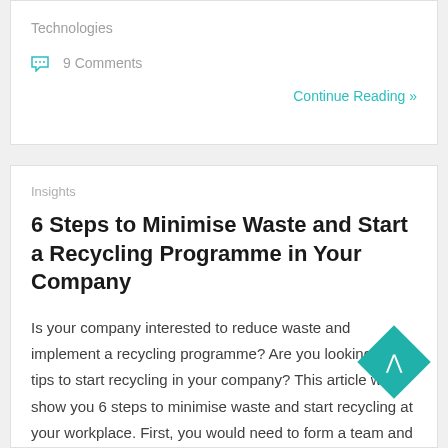Technologies
9 Comments
Continue Reading »
Insights
6 Steps to Minimise Waste and Start a Recycling Programme in Your Company
Is your company interested to reduce waste and implement a recycling programme? Are you looking for tips to start recycling in your company? This article will show you 6 steps to minimise waste and start recycling at your workplace. First, you would need to form a team and get